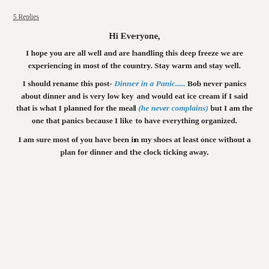5 Replies
Hi Everyone,
I hope you are all well and are handling this deep freeze we are experiencing in most of the country. Stay warm and stay well.
I should rename this post- Dinner in a Panic..... Bob never panics about dinner and is very low key and would eat ice cream if I said that is what I planned for the meal (he never complains) but I am the one that panics because I like to have everything organized.
I am sure most of you have been in my shoes at least once without a plan for dinner and the clock ticking away.